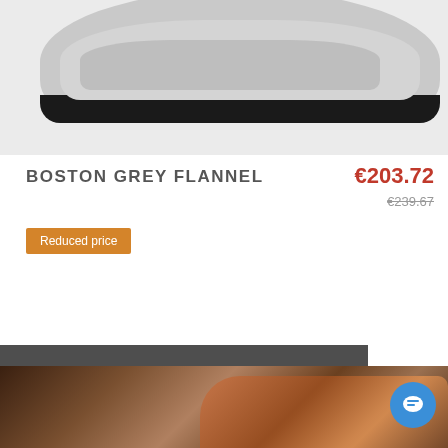[Figure (photo): Grey flannel loafer shoe photographed from above on white background, showing the top portion cropped]
BOSTON GREY FLANNEL
€203.72
€239.67
Reduced price
Esta tienda utiliza cookies y otras tecnologías para que podamos mejorar su experiencia en nuestros sitios.
Accept
[Figure (photo): Bottom portion of a patterned/printed loafer shoe visible at the bottom of the page]